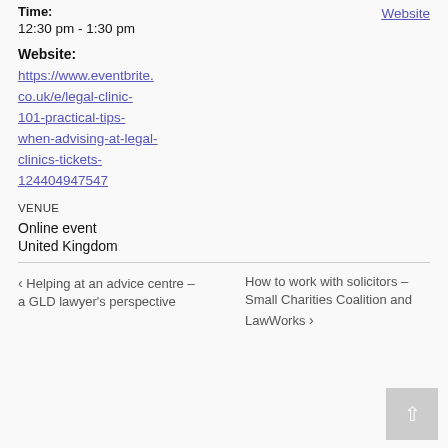Time:
12:30 pm - 1:30 pm
Website
Website:
https://www.eventbrite.co.uk/e/legal-clinic-101-practical-tips-when-advising-at-legal-clinics-tickets-124404947547
VENUE
Online event
United Kingdom
‹ Helping at an advice centre – a GLD lawyer's perspective
How to work with solicitors – Small Charities Coalition and LawWorks ›